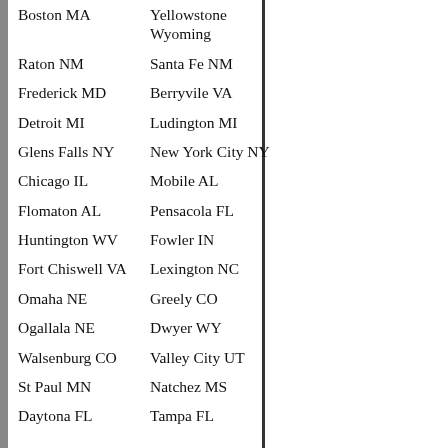| Column1 | Column2 |
| --- | --- |
| Boston MA | Yellowstone Wyoming |
| Raton NM | Santa Fe NM |
| Frederick MD | Berryvile VA |
| Detroit MI | Ludington MI |
| Glens Falls NY | New York City NY |
| Chicago IL | Mobile AL |
| Flomaton AL | Pensacola FL |
| Huntington WV | Fowler IN |
| Fort Chiswell VA | Lexington NC |
| Omaha NE | Greely CO |
| Ogallala NE | Dwyer WY |
| Walsenburg CO | Valley City UT |
| St Paul MN | Natchez MS |
| Daytona FL | Tampa FL |